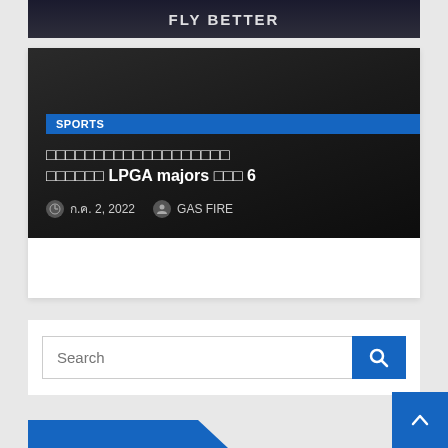[Figure (photo): Dark sports image strip with FLY BETTER text visible in white, partial sports jersey image]
[Figure (screenshot): Article card with dark background image, SPORTS badge in blue, Thai-language title with LPGA majors text and number 6, date m.n. 2, 2022 and author GAS FIRE]
SPORTS
□□□□□□□□□□□□□□□□□□□ □□□□□□ LPGA majors □□□ 6
ก.ค. 2, 2022   GAS FIRE
Search